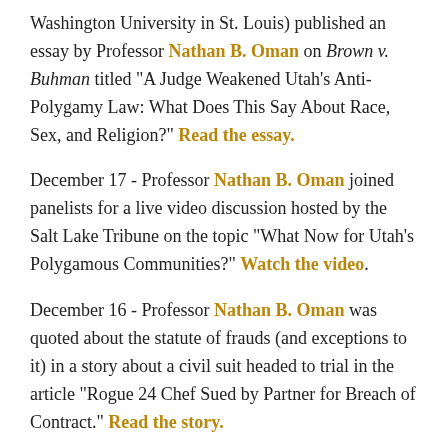Washington University in St. Louis) published an essay by Professor Nathan B. Oman on Brown v. Buhman titled "A Judge Weakened Utah's Anti-Polygamy Law: What Does This Say About Race, Sex, and Religion?" Read the essay.
December 17 - Professor Nathan B. Oman joined panelists for a live video discussion hosted by the Salt Lake Tribune on the topic "What Now for Utah's Polygamous Communities?" Watch the video.
December 16 - Professor Nathan B. Oman was quoted about the statute of frauds (and exceptions to it) in a story about a civil suit headed to trial in the article "Rogue 24 Chef Sued by Partner for Breach of Contract." Read the story.
December 16 - Professor Nathan B. Oman was